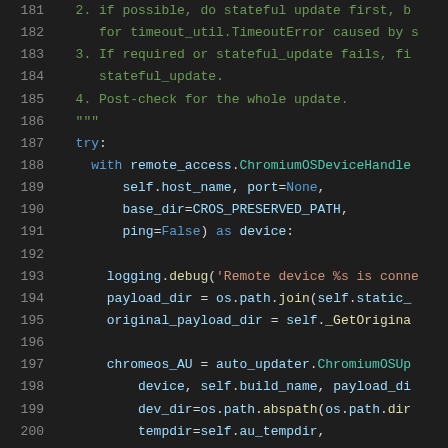Code snippet showing Python source lines 181-201 with syntax highlighting. Lines include docstring comments, try block, with statement using remote_access.ChromiumOSDeviceHandle, logging.debug, payload_dir, original_payload_dir, chromeos_AU assignments.